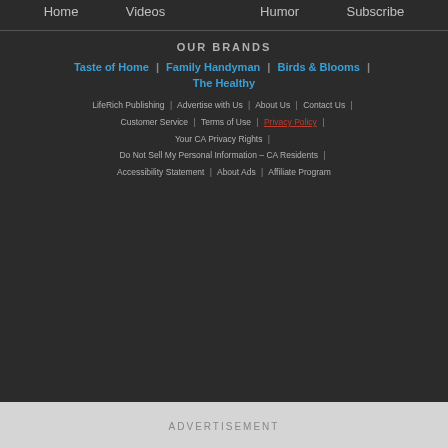Home | Videos | Humor | Subscribe
OUR BRANDS
Taste of Home | Family Handyman | Birds & Blooms | The Healthy
LifeRich Publishing | Advertise with Us | About Us | Contact Us | Customer Service | Terms of Use | Privacy Policy | Your CA Privacy Rights | Do Not Sell My Personal Information – CA Residents | Accessibility Statement | About Ads | Affiliate Program
ADVERTISEMENT